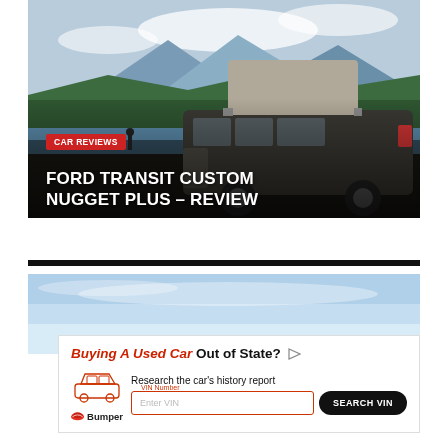[Figure (photo): Ford Transit Custom Nugget Plus camper van with pop-up roof tent, parked near a lake with mountains in background. Has overlaid text badge 'CAR REVIEWS' in red and large white title text 'FORD TRANSIT CUSTOM NUGGET PLUS – REVIEW']
[Figure (photo): Light blue sky advertisement banner background]
[Figure (infographic): Bumper advertisement: 'Buying A Used Car Out of State?' with car icon, VIN number input field, and SEARCH VIN button. Bumper logo at bottom left.]